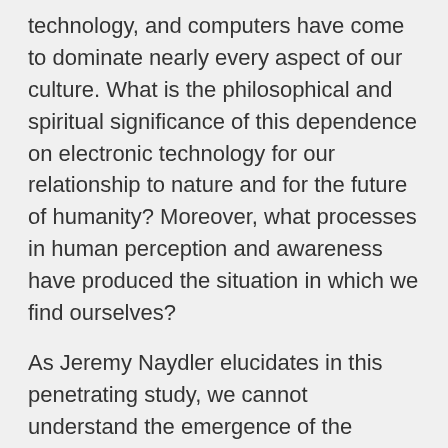technology, and computers have come to dominate nearly every aspect of our culture. What is the philosophical and spiritual significance of this dependence on electronic technology for our relationship to nature and for the future of humanity? Moreover, what processes in human perception and awareness have produced the situation in which we find ourselves?
As Jeremy Naydler elucidates in this penetrating study, we cannot understand the emergence of the computer without seeing it within the wider context of the evolution of human consciousness over millennia. He shows how modern consciousness has evolved in conjunction with the development of machines and their increasing shadow.
Computers are the product of a long historical